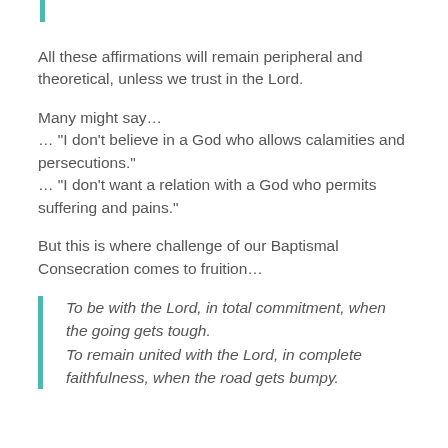All these affirmations will remain peripheral and theoretical, unless we trust in the Lord.
Many might say…
… “I don’t believe in a God who allows calamities and persecutions.”
… “I don’t want a relation with a God who permits suffering and pains.”
But this is where challenge of our Baptismal Consecration comes to fruition…
To be with the Lord, in total commitment, when the going gets tough.
To remain united with the Lord, in complete faithfulness, when the road gets bumpy.